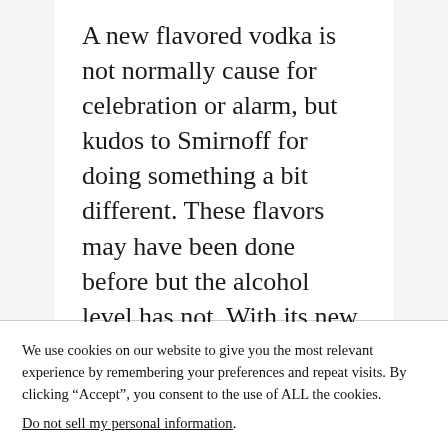A new flavored vodka is not normally cause for celebration or alarm, but kudos to Smirnoff for doing something a bit different. These flavors may have been done before but the alcohol level has not. With its new espresso and root beer
We use cookies on our website to give you the most relevant experience by remembering your preferences and repeat visits. By clicking “Accept”, you consent to the use of ALL the cookies.
Do not sell my personal information.